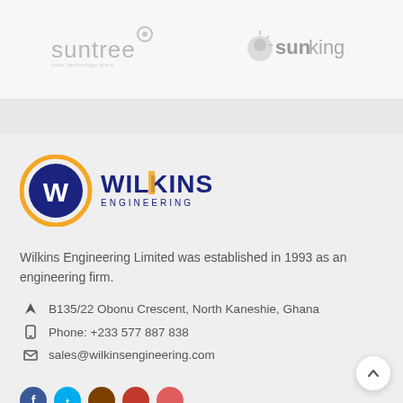[Figure (logo): Suntree company logo - gray text with bubble icon]
[Figure (logo): Sun King company logo - gray text with lion/sun icon]
[Figure (logo): Wilkins Engineering logo - blue circle with W, blue and orange text]
Wilkins Engineering Limited was established in 1993 as an engineering firm.
B135/22 Obonu Crescent, North Kaneshie, Ghana
Phone: +233 577 887 838
sales@wilkinsengineering.com